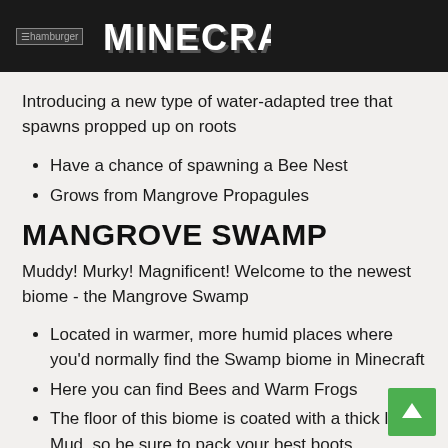MINECRAFT
Introducing a new type of water-adapted tree that spawns propped up on roots
Have a chance of spawning a Bee Nest
Grows from Mangrove Propagules
MANGROVE SWAMP
Muddy! Murky! Magnificent! Welcome to the newest biome - the Mangrove Swamp
Located in warmer, more humid places where you'd normally find the Swamp biome in Minecraft
Here you can find Bees and Warm Frogs
The floor of this biome is coated with a thick lay Mud, so be sure to pack your best boots